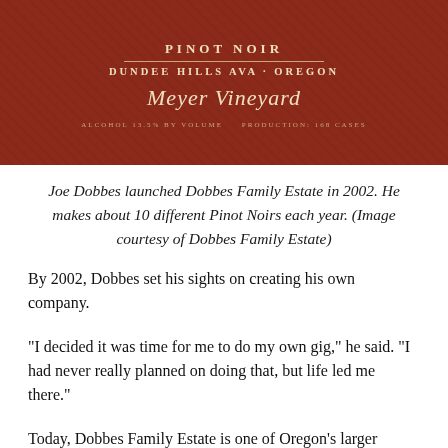[Figure (photo): Wine bottle label on dark red background for Dobbes Family Estate Pinot Noir, Dundee Hills AVA, Oregon, Meyer Vineyard. Alcohol 13.5% by volume. Production: 168 cases.]
Joe Dobbes launched Dobbes Family Estate in 2002. He makes about 10 different Pinot Noirs each year. (Image courtesy of Dobbes Family Estate)
By 2002, Dobbes set his sights on creating his own company.
“I decided it was time for me to do my own gig,” he said. “I had never really planned on doing that, but life led me there.”
Today, Dobbes Family Estate is one of Oregon’s larger